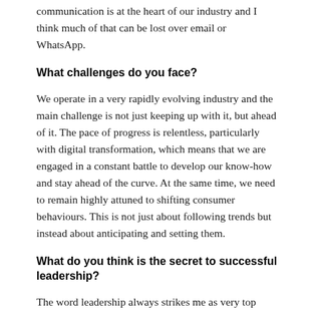communication is at the heart of our industry and I think much of that can be lost over email or WhatsApp.
What challenges do you face?
We operate in a very rapidly evolving industry and the main challenge is not just keeping up with it, but ahead of it. The pace of progress is relentless, particularly with digital transformation, which means that we are engaged in a constant battle to develop our know-how and stay ahead of the curve. At the same time, we need to remain highly attuned to shifting consumer behaviours. This is not just about following trends but instead about anticipating and setting them.
What do you think is the secret to successful leadership?
The word leadership always strikes me as very top down in character. It suggests that you are in front, ahead or on top of your team, but in my opinion true leadership is more about supporting your team from behind, beneath or within. If you are the captain of a ship or the cox of a rowing boat, you steer and support your crew from the back of the vessel, and I